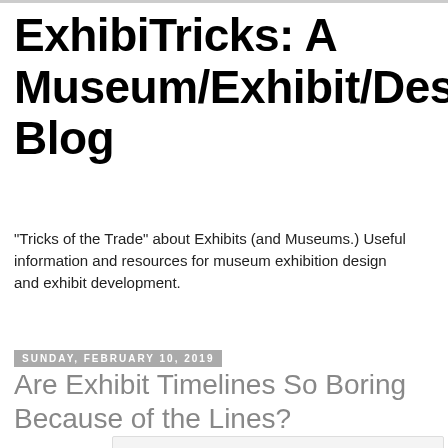ExhibiTricks: A Museum/Exhibit/Design Blog
"Tricks of the Trade" about Exhibits (and Museums.) Useful information and resources for museum exhibition design and exhibit development.
Sunday, February 10, 2019
Are Exhibit Timelines So Boring Because of the Lines?
[Figure (photo): Image placeholder/thumbnail for the blog article]